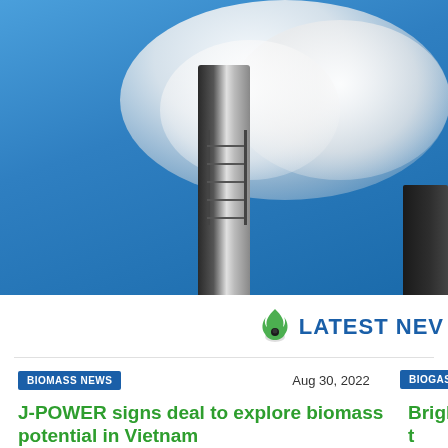[Figure (photo): Industrial smokestacks against a blue sky, with large white smoke clouds billowing from the tops. Two smokestacks visible — one tall central one and a shorter one at the right edge.]
LATEST NEV...
BIOMASS NEWS
Aug 30, 2022
BIOGAS N...
J-POWER signs deal to explore biomass potential in Vietnam
Bright t... the IC...